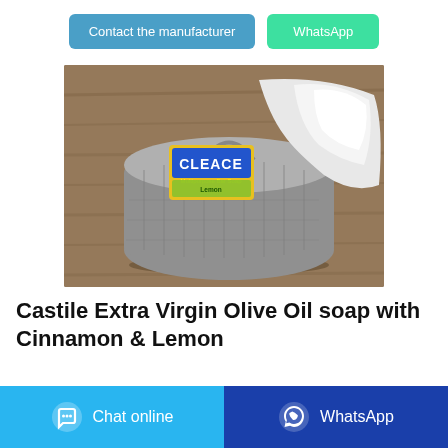[Figure (other): Two buttons: 'Contact the manufacturer' (blue/teal) and 'WhatsApp' (green)]
[Figure (photo): Photo of a gray woven basket containing a bar of CLEACE soap with white towel cloth, on a wooden surface]
Castile Extra Virgin Olive Oil soap with Cinnamon & Lemon
[Figure (other): Two bottom buttons: 'Chat online' (light blue with chat icon) and 'WhatsApp' (dark blue with WhatsApp icon)]